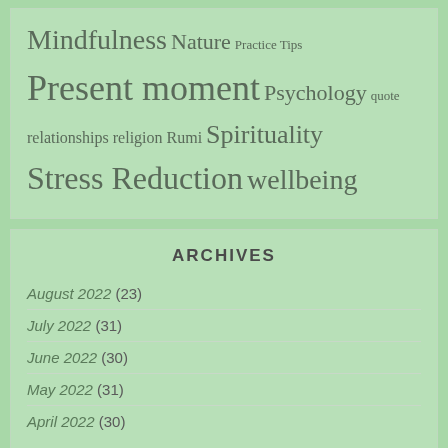Mindfulness Nature Practice Tips Present moment Psychology quote relationships religion Rumi Spirituality Stress Reduction wellbeing
ARCHIVES
August 2022 (23)
July 2022 (31)
June 2022 (30)
May 2022 (31)
April 2022 (30)